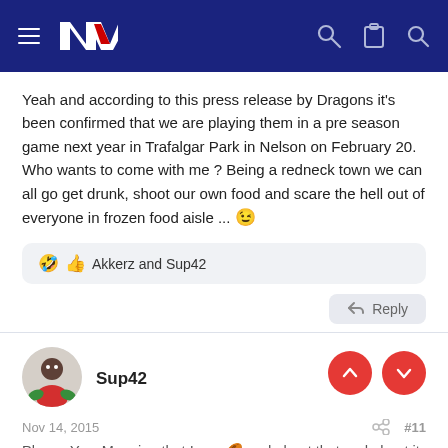NZ (logo/navigation header)
Yeah and according to this press release by Dragons it's been confirmed that we are playing them in a pre season game next year in Trafalgar Park in Nelson on February 20. Who wants to come with me ? Being a redneck town we can all go get drunk, shoot our own food and scare the hell out of everyone in frozen food aisle ... 😉
🤣 👍 Akkerz and Sup42
↩ Reply
Sup42
Nov 14, 2015   #11
Please Yes. Meaning that I see 🏉 and about that and about it the